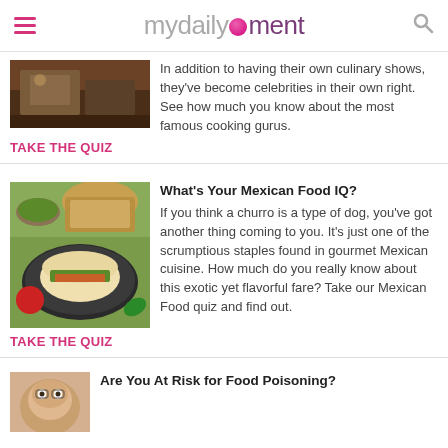mydailymoment
In addition to having their own culinary shows, they've become celebrities in their own right. See how much you know about the most famous cooking gurus.
TAKE THE QUIZ
What's Your Mexican Food IQ?
If you think a churro is a type of dog, you've got another thing coming to you. It's just one of the scrumptious staples found in gourmet Mexican cuisine. How much do you really know about this exotic yet flavorful fare? Take our Mexican Food quiz and find out.
TAKE THE QUIZ
Are You At Risk for Food Poisoning?